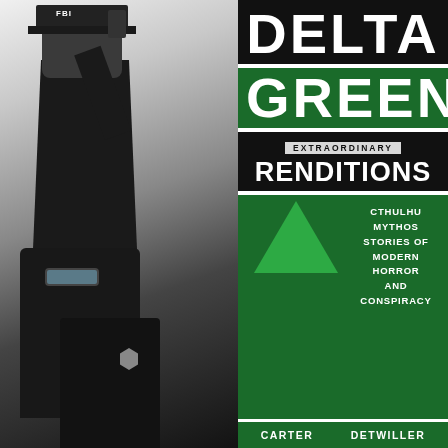[Figure (photo): Book cover photo showing an FBI agent in black clothing holding a gun raised overhead, and two tactical agents in black gear with goggles below, against a dark background]
DELTA GREEN
EXTRAORDINARY RENDITIONS
CTHULHU MYTHOS STORIES OF MODERN HORROR AND CONSPIRACY
CARTER    DETWILLER